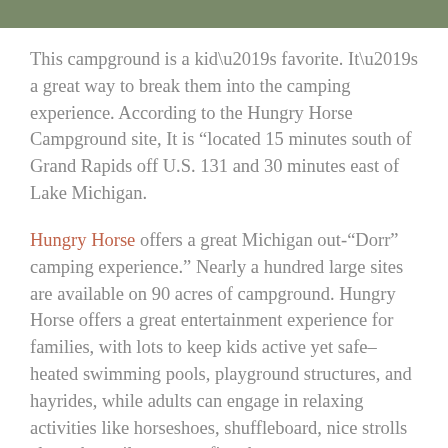[Figure (photo): Partial photo strip at top of page showing outdoor/campground scene]
This campground is a kid’s favorite. It’s a great way to break them into the camping experience. According to the Hungry Horse Campground site, It is “located 15 minutes south of Grand Rapids off U.S. 131 and 30 minutes east of Lake Michigan.
Hungry Horse offers a great Michigan out-“Dorr” camping experience.” Nearly a hundred large sites are available on 90 acres of campground. Hungry Horse offers a great entertainment experience for families, with lots to keep kids active yet safe–heated swimming pools, playground structures, and hayrides, while adults can engage in relaxing activities like horseshoes, shuffleboard, nice strolls along the trails, or campfire chats.